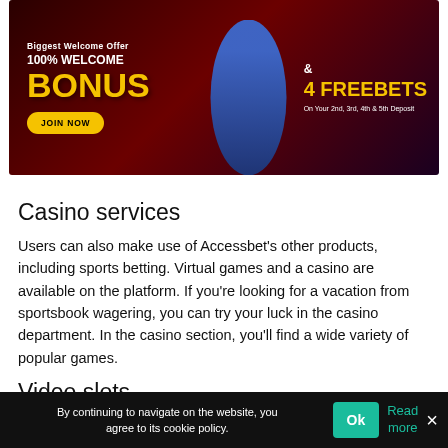[Figure (photo): Casino/betting advertising banner showing '100% Welcome Bonus' and '4 Freebets' on dark red background with a man in blue shirt]
Casino services
Users can also make use of Accessbet's other products, including sports betting. Virtual games and a casino are available on the platform. If you're looking for a vacation from sportsbook wagering, you can try your luck in the casino department. In the casino section, you'll find a wide variety of popular games.
Video slots
By continuing to navigate on the website, you agree to its cookie policy.